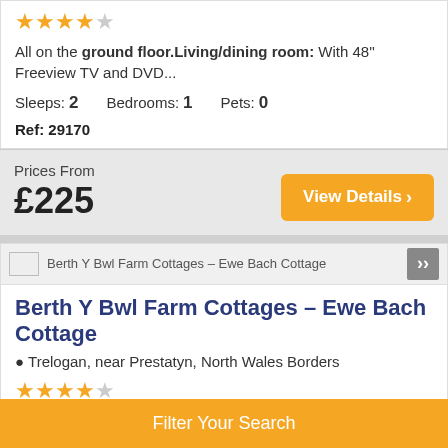★★★★☆
All on the ground floor.Living/dining room: With 48'' Freeview TV and DVD...
Sleeps: 2   Bedrooms: 1   Pets: 0
Ref: 29170
Prices From £225
View Details ›
Berth Y Bwl Farm Cottages – Ewe Bach Cottage
Berth Y Bwl Farm Cottages – Ewe Bach Cottage
Trelogan, near Prestatyn, North Wales Borders
★★★★☆
Ground Floor: Step to entrance.Kitchen: With breakfast area, electric oven, electric hob,...
Sleeps:   Bedrooms:   Pets:
Filter Your Search